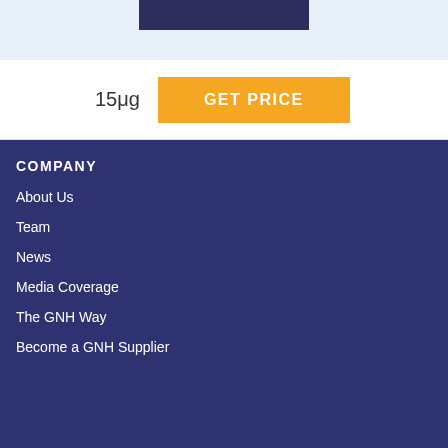[Figure (other): Top section with light blue background containing a dark navy button/bar element]
15μg
GET PRICE
COMPANY
About Us
Team
News
Media Coverage
The GNH Way
Become a GNH Supplier